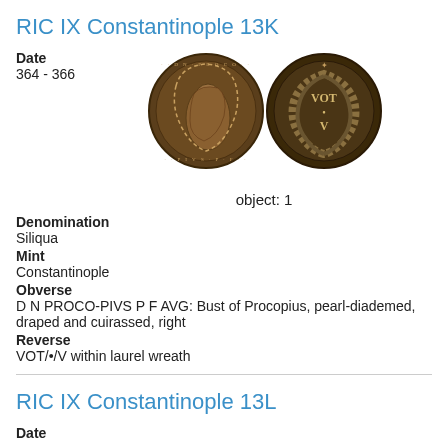RIC IX Constantinople 13K
Date
364 - 366
[Figure (photo): Two ancient Roman bronze coins: obverse showing bust of Procopius, reverse showing VOT/•/V within laurel wreath]
object: 1
Denomination
Siliqua
Mint
Constantinople
Obverse
D N PROCO-PIVS P F AVG: Bust of Procopius, pearl-diademed, draped and cuirassed, right
Reverse
VOT/•/V within laurel wreath
RIC IX Constantinople 13L
Date